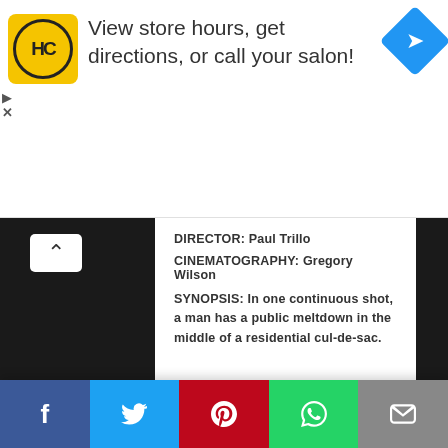[Figure (screenshot): Advertisement banner: Haircuttery logo, text 'View store hours, get directions, or call your salon!', and Google Maps navigation icon]
DIRECTOR: Paul Trillo
CINEMATOGRAPHY: Gregory Wilson
SYNOPSIS: In one continuous shot, a man has a public meltdown in the middle of a residential cul-de-sac.
[Figure (screenshot): Social share buttons: Facebook (blue), Twitter (light blue), Pinterest (red), WhatsApp (green)]
[Figure (screenshot): Modal overlay with social share buttons: Facebook (blue), Twitter (light blue), Pinterest (red), and partial WhatsApp/email row]
[Figure (screenshot): Bottom fixed share bar with Facebook, Twitter, Pinterest, WhatsApp, Email icons]